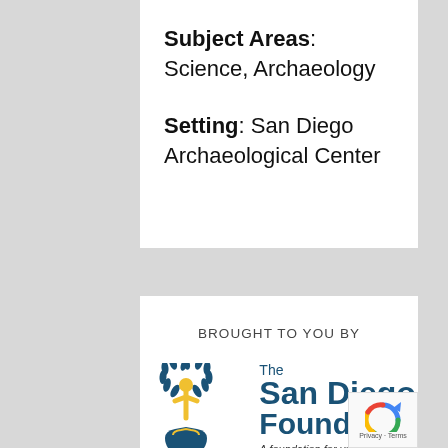Subject Areas: Science, Archaeology
Setting: San Diego Archaeological Center
BROUGHT TO YOU BY
[Figure (logo): The San Diego Foundation logo — a stylized tree/person figure in blue and yellow with the text 'The San Diego Foundation — A foundation for your passion']